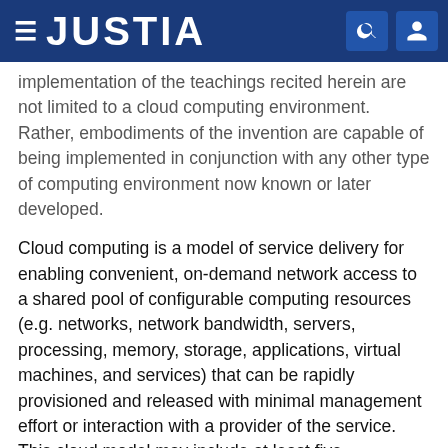JUSTIA
implementation of the teachings recited herein are not limited to a cloud computing environment. Rather, embodiments of the invention are capable of being implemented in conjunction with any other type of computing environment now known or later developed.
Cloud computing is a model of service delivery for enabling convenient, on-demand network access to a shared pool of configurable computing resources (e.g. networks, network bandwidth, servers, processing, memory, storage, applications, virtual machines, and services) that can be rapidly provisioned and released with minimal management effort or interaction with a provider of the service. This cloud model may include at least five characteristics, at least three service models, and at least four deployment models.
Characteristics are as follows: